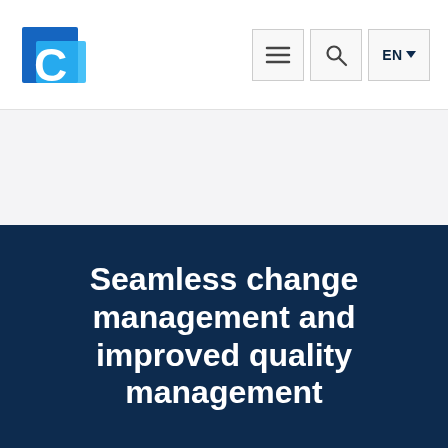C logo | menu | search | EN
Seamless change management and improved quality management